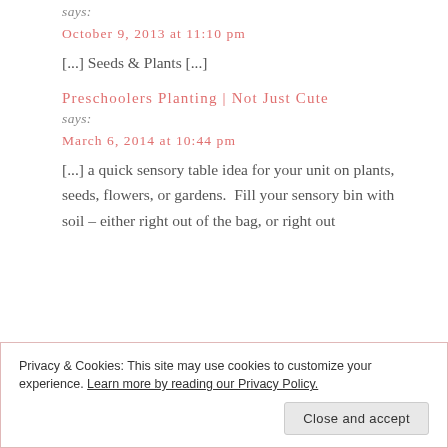says:
October 9, 2013 at 11:10 pm
[...] Seeds & Plants [...]
Preschoolers Planting | Not Just Cute
says:
March 6, 2014 at 10:44 pm
[...] a quick sensory table idea for your unit on plants, seeds, flowers, or gardens.  Fill your sensory bin with soil – either right out of the bag, or right out
Privacy & Cookies: This site may use cookies to customize your experience. Learn more by reading our Privacy Policy. Close and accept